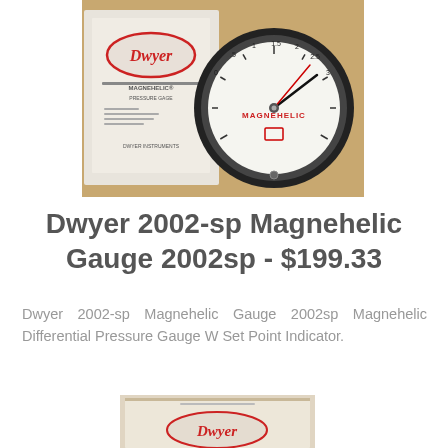[Figure (photo): Dwyer Magnehelic pressure gauge model 2002sp next to its product box. The circular gauge has a black bezel with a white dial face showing scale markings, and a red set-point indicator needle.]
Dwyer 2002-sp Magnehelic Gauge 2002sp - $199.33
Dwyer 2002-sp Magnehelic Gauge 2002sp Magnehelic Differential Pressure Gauge W Set Point Indicator.
[Figure (photo): Partial view of a second Dwyer Magnehelic gauge product box, showing the Dwyer logo, visible from the bottom of the page.]